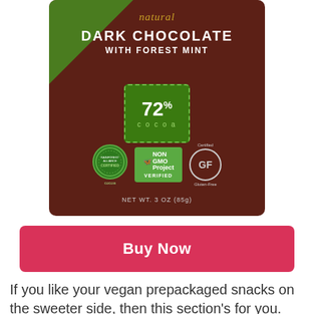[Figure (photo): Chocolate bar package: Natural Dark Chocolate with Forest Mint, 72% cocoa, with Rainforest Alliance Certified, Non GMO Project Verified, and Gluten-Free certification logos. NET WT. 3 OZ (85g).]
Buy Now
If you like your vegan prepackaged snacks on the sweeter side, then this section's for you. Endangered